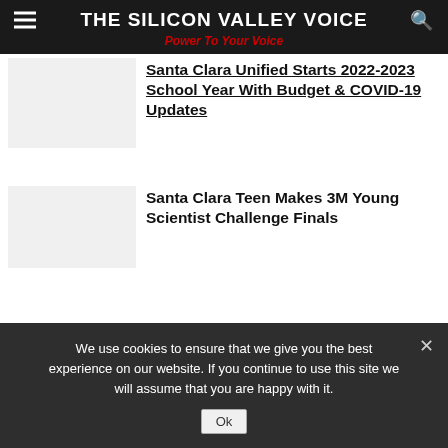THE SILICON VALLEY VOICE
Power To Your Voice
Santa Clara Unified Starts 2022-2023 School Year With Budget & COVID-19 Updates
Santa Clara Teen Makes 3M Young Scientist Challenge Finals
Gillmor's Real Estate Dealings Under
We use cookies to ensure that we give you the best experience on our website. If you continue to use this site we will assume that you are happy with it.